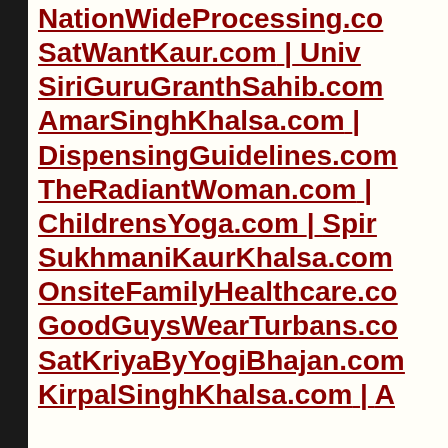NationWideProcessing.c…
SatWantKaur.com | Univ…
SiriGuruGranthSahib.com…
AmarSinghKhalsa.com |…
DispensingGuidelines.com…
TheRadiantWoman.com |…
ChildrensYoga.com | Spir…
SukhmaniKaurKhalsa.com…
OnsiteFamilyHealthcare.co…
GoodGuysWearTurbans.co…
SatKriyaByYogiBhajan.com…
KirpalSinghKhalsa.com | A…